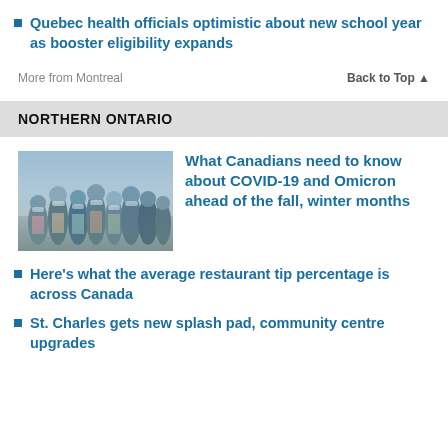Quebec health officials optimistic about new school year as booster eligibility expands
More from Montreal
Back to Top ▲
NORTHERN ONTARIO
[Figure (photo): Crowd of people walking outdoors wearing face masks]
What Canadians need to know about COVID-19 and Omicron ahead of the fall, winter months
Here's what the average restaurant tip percentage is across Canada
St. Charles gets new splash pad, community centre upgrades